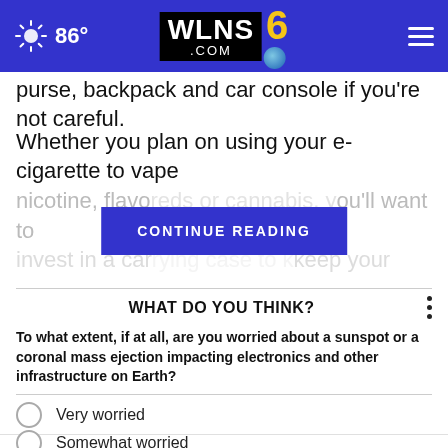WLNS 6 .com | 86°
purse, backpack and car console if you're not careful.
Whether you plan on using your e-cigarette to vape nicotine, flavo... you'll want to invest in a car... keep your
WHAT DO YOU THINK?
To what extent, if at all, are you worried about a sunspot or a coronal mass ejection impacting electronics and other infrastructure on Earth?
Very worried
Somewhat worried
Not at all worried
Other/No opinion